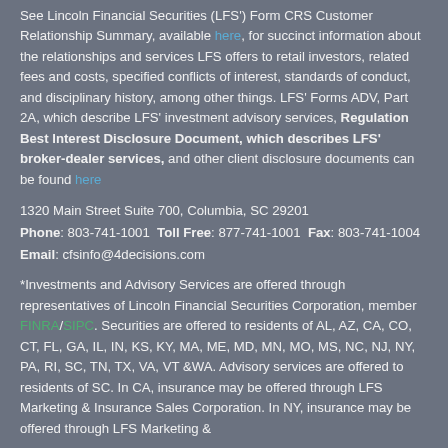See Lincoln Financial Securities (LFS') Form CRS Customer Relationship Summary, available here, for succinct information about the relationships and services LFS offers to retail investors, related fees and costs, specified conflicts of interest, standards of conduct, and disciplinary history, among other things. LFS' Forms ADV, Part 2A, which describe LFS' investment advisory services, Regulation Best Interest Disclosure Document, which describes LFS' broker-dealer services, and other client disclosure documents can be found here
1320 Main Street Suite 700, Columbia, SC 29201
Phone: 803-741-1001 Toll Free: 877-741-1001 Fax: 803-741-1004
Email: cfsinfo@4decisions.com
*Investments and Advisory Services are offered through representatives of Lincoln Financial Securities Corporation, member FINRA/SIPC. Securities are offered to residents of AL, AZ, CA, CO, CT, FL, GA, IL, IN, KS, KY, MA, ME, MD, MN, MO, MS, NC, NJ, NY, PA, RI, SC, TN, TX, VA, VT &WA. Advisory services are offered to residents of SC. In CA, insurance may be offered through LFS Marketing & Insurance Sales Corporation. In NY, insurance may be offered through LFS Marketing & Insurance Agency Corporation d/b/a Financial Compass t...